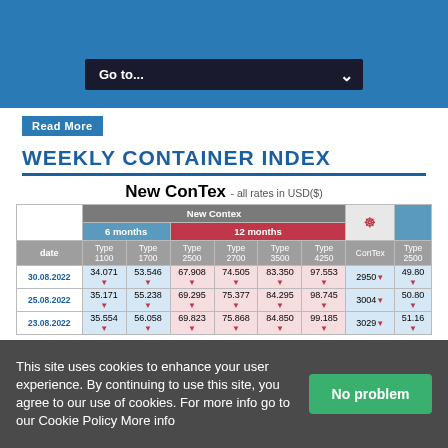Go to...
Read More
WEEKLY CONTAINER INDEX
New ConTex - all rates in USD($)
| date | Type 1100 | Type 1700 | Type 2500 | Type 2700 | Type 3500 | Type 4250 | ConTex | Type 2500 |
| --- | --- | --- | --- | --- | --- | --- | --- | --- |
| 30.08.2022 | 34.071 | 53.546 | 67.908 | 74.505 | 83.350 | 97.553 | 2950 | 49.80 |
| 25.08.2022 | 35.171 | 55.238 | 69.295 | 75.377 | 84.295 | 98.745 | 3004 | 50.80 |
| 23.08.2022 | 35.554 | 56.058 | 69.823 | 75.868 | 84.850 | 99.185 | 3029 | 51.16 |
This site uses cookies to enhance your user experience. By continuing to use this site, you agree to our use of cookies. For more info go to our Cookie Policy More info
No problem